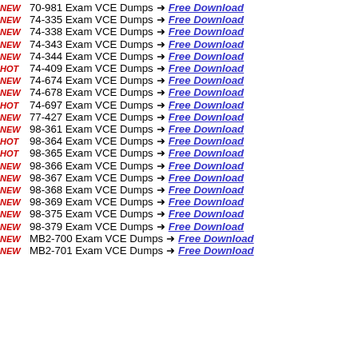NEW 70-981 Exam VCE Dumps → Free Download
NEW 74-335 Exam VCE Dumps → Free Download
NEW 74-338 Exam VCE Dumps → Free Download
NEW 74-343 Exam VCE Dumps → Free Download
NEW 74-344 Exam VCE Dumps → Free Download
HOT 74-409 Exam VCE Dumps → Free Download
NEW 74-674 Exam VCE Dumps → Free Download
NEW 74-678 Exam VCE Dumps → Free Download
HOT 74-697 Exam VCE Dumps → Free Download
NEW 77-427 Exam VCE Dumps → Free Download
NEW 98-361 Exam VCE Dumps → Free Download
HOT 98-364 Exam VCE Dumps → Free Download
HOT 98-365 Exam VCE Dumps → Free Download
NEW 98-366 Exam VCE Dumps → Free Download
NEW 98-367 Exam VCE Dumps → Free Download
NEW 98-368 Exam VCE Dumps → Free Download
NEW 98-369 Exam VCE Dumps → Free Download
NEW 98-375 Exam VCE Dumps → Free Download
NEW 98-379 Exam VCE Dumps → Free Download
NEW MB2-700 Exam VCE Dumps → Free Download
NEW MB2-701 Exam VCE Dumps → Free Download